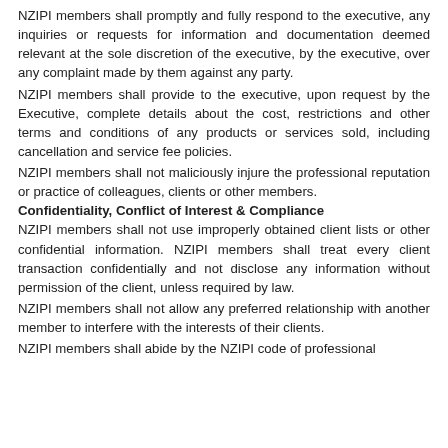NZIPI members shall promptly and fully respond to the executive, any inquiries or requests for information and documentation deemed relevant at the sole discretion of the executive, by the executive, over any complaint made by them against any party.
NZIPI members shall provide to the executive, upon request by the Executive, complete details about the cost, restrictions and other terms and conditions of any products or services sold, including cancellation and service fee policies.
NZIPI members shall not maliciously injure the professional reputation or practice of colleagues, clients or other members.
Confidentiality, Conflict of Interest & Compliance
NZIPI members shall not use improperly obtained client lists or other confidential information. NZIPI members shall treat every client transaction confidentially and not disclose any information without permission of the client, unless required by law.
NZIPI members shall not allow any preferred relationship with another member to interfere with the interests of their clients.
NZIPI members shall abide by the NZIPI code of professional